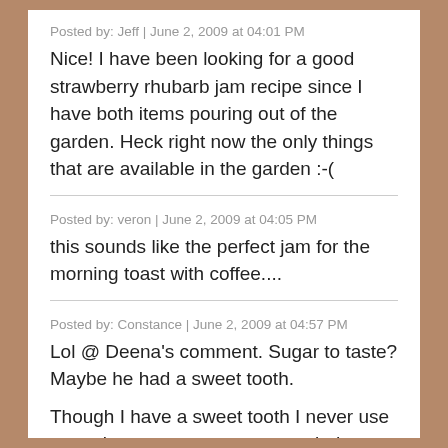Posted by: Jeff | June 2, 2009 at 04:01 PM
Nice! I have been looking for a good strawberry rhubarb jam recipe since I have both items pouring out of the garden. Heck right now the only things that are available in the garden :-(
Posted by: veron | June 2, 2009 at 04:05 PM
this sounds like the perfect jam for the morning toast with coffee....
Posted by: Constance | June 2, 2009 at 04:57 PM
Lol @ Deena's comment. Sugar to taste? Maybe he had a sweet tooth.

Though I have a sweet tooth I never use sugar in my tomato sauce or salad dressings. I love the tartness, the acidity of the tomatoes and vinegar.